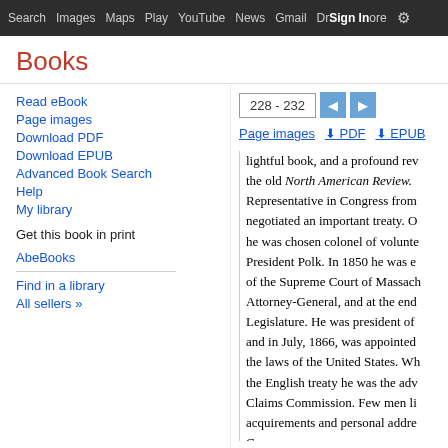Search  Images  Maps  Play  YouTube  News  Gmail  Drive  More  Sign in
Books
Read eBook
Page images
Download PDF
Download EPUB
Advanced Book Search
Help
My library
Get this book in print
AbeBooks
Find in a library
All sellers »
228 - 232
Page images  ⬇ PDF  ⬇ EPUB
lightful book, and a profound rev the old North American Review. Representative in Congress from negotiated an important treaty. O he was chosen colonel of volunte President Polk. In 1850 he was e of the Supreme Court of Massach Attorney-General, and at the end Legislature. He was president of and in July, 1866, was appointed the laws of the United States. Wh the English treaty he was the adv Claims Commission. Few men li acquirements and personal addre Geneva.